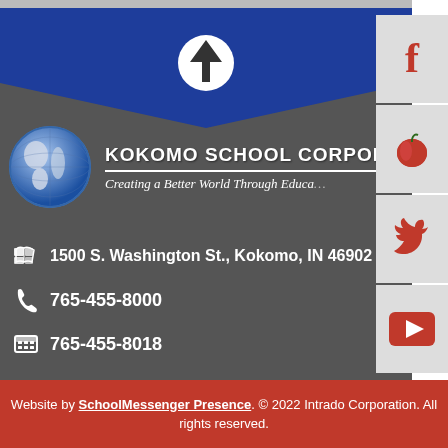[Figure (screenshot): Top gray image strip from website screenshot]
[Figure (illustration): Blue chevron/arrow background shape with dark gray footer area and white circular up-arrow button]
[Figure (logo): Kokomo School Corporation globe logo with school name 'KOKOMO SCHOOL CORPORATION' and tagline 'Creating a Better World Through Education']
1500 S. Washington St., Kokomo, IN 46902
765-455-8000
765-455-8018
[Figure (illustration): Facebook icon on light gray background in social sidebar]
[Figure (illustration): Apple/school icon on light gray background in social sidebar]
[Figure (illustration): Twitter bird icon on light gray background in social sidebar]
[Figure (illustration): YouTube play button icon on light gray background in social sidebar]
Website by SchoolMessenger Presence. © 2022 Intrado Corporation. All rights reserved.